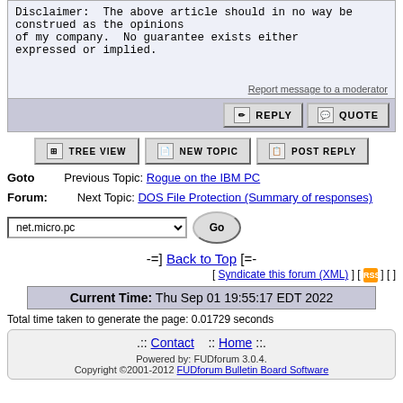Disclaimer:  The above article should in no way be construed as the opinions of my company.  No guarantee exists either expressed or implied.
Report message to a moderator
REPLY  QUOTE
TREE VIEW  NEW TOPIC  POST REPLY
Goto  Previous Topic: Rogue on the IBM PC
Forum:  Next Topic: DOS File Protection (Summary of responses)
net.micro.pc  Go
-=] Back to Top [=-
[ Syndicate this forum (XML) ] [ ] [ ]
Current Time: Thu Sep 01 19:55:17 EDT 2022
Total time taken to generate the page: 0.01729 seconds
.:  Contact  :: Home ::.
Powered by: FUDforum 3.0.4.
Copyright ©2001-2012 FUDforum Bulletin Board Software